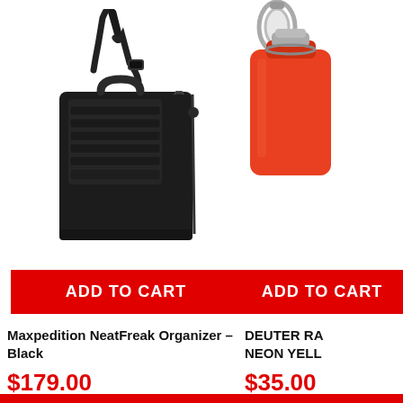[Figure (photo): Black Maxpedition NeatFreak Organizer tactical shoulder bag with MOLLE webbing front panel and adjustable strap]
ADD TO CART
Maxpedition NeatFreak Organizer – Black
$179.00
[Figure (photo): Partial view of a Deuter product in neon yellow, appears to be a water bottle or container with metal clip]
ADD TO CART
DEUTER RA... NEON YELL...
$35.00